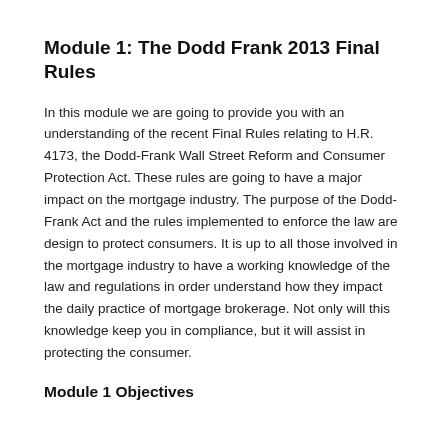Module 1: The Dodd Frank 2013 Final Rules
In this module we are going to provide you with an understanding of the recent Final Rules relating to H.R. 4173, the Dodd-Frank Wall Street Reform and Consumer Protection Act. These rules are going to have a major impact on the mortgage industry. The purpose of the Dodd-Frank Act and the rules implemented to enforce the law are design to protect consumers. It is up to all those involved in the mortgage industry to have a working knowledge of the law and regulations in order understand how they impact the daily practice of mortgage brokerage. Not only will this knowledge keep you in compliance, but it will assist in protecting the consumer.
Module 1 Objectives